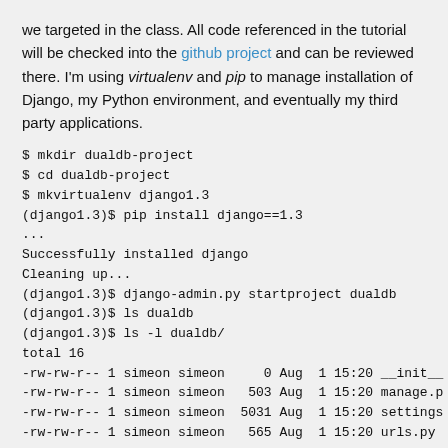we targeted in the class. All code referenced in the tutorial will be checked into the github project and can be reviewed there. I'm using virtualenv and pip to manage installation of Django, my Python environment, and eventually my third party applications.
$ mkdir dualdb-project
$ cd dualdb-project
$ mkvirtualenv django1.3
(django1.3)$ pip install django==1.3
...
Successfully installed django
Cleaning up...
(django1.3)$ django-admin.py startproject dualdb
(django1.3)$ ls dualdb
(django1.3)$ ls -l dualdb/
total 16
-rw-rw-r-- 1 simeon simeon     0 Aug  1 15:20 __init__
-rw-rw-r-- 1 simeon simeon   503 Aug  1 15:20 manage.p
-rw-rw-r-- 1 simeon simeon  5031 Aug  1 15:20 settings
-rw-rw-r-- 1 simeon simeon   565 Aug  1 15:20 urls.py
Now that the core Django project is set up, we can start